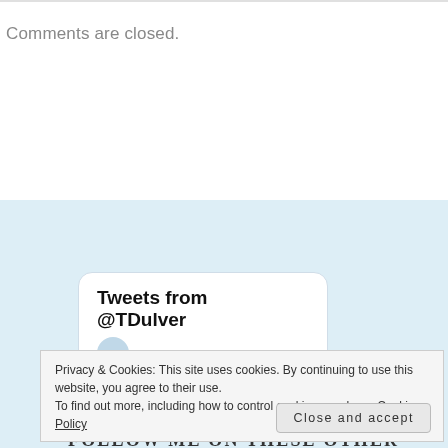Comments are closed.
FOLLOW ME ON THESE OTHER SITES
[Figure (screenshot): Tweets from @TDulver widget card with white rounded rectangle background]
Privacy & Cookies: This site uses cookies. By continuing to use this website, you agree to their use.
To find out more, including how to control cookies, see here: Cookie Policy
Close and accept